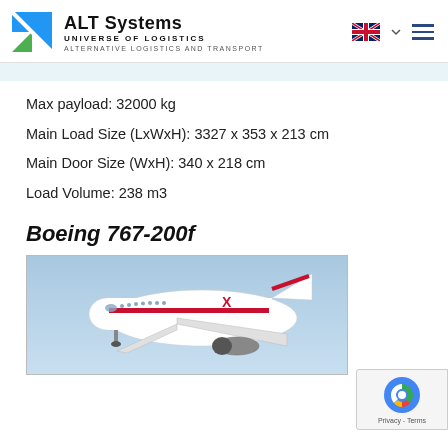ALT Systems — UNIVERSE OF LOGISTICS — ALTERNATIVE LOGISTICS AND TRANSPORT
Max payload: 32000 kg
Main Load Size (LxWxH): 3327 x 353 x 213 cm
Main Door Size (WxH): 340 x 218 cm
Load Volume: 238 m3
Boeing 767-200f
[Figure (photo): Front view of a white Boeing 767-200f cargo aircraft with red stripe livery on approach, blue sky background]